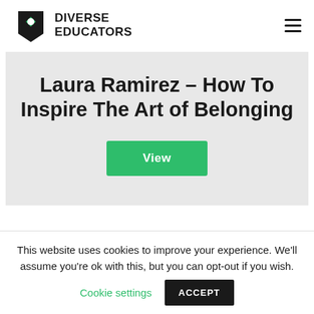DIVERSE EDUCATORS
Laura Ramirez – How To Inspire The Art of Belonging
View
This website uses cookies to improve your experience. We'll assume you're ok with this, but you can opt-out if you wish. Cookie settings ACCEPT